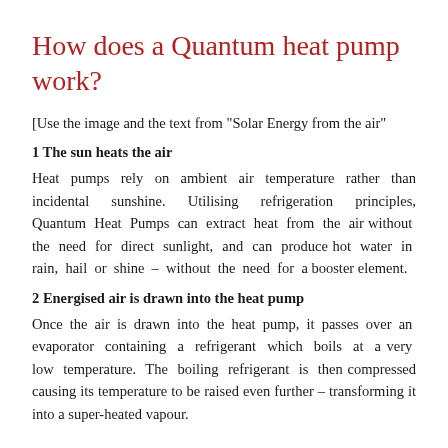How does a Quantum heat pump work?
[Use the image and the text from "Solar Energy from the air"
1 The sun heats the air
Heat pumps rely on ambient air temperature rather than incidental sunshine. Utilising refrigeration principles, Quantum Heat Pumps can extract heat from the air without the need for direct sunlight, and can produce hot water in rain, hail or shine – without the need for a booster element.
2 Energised air is drawn into the heat pump
Once the air is drawn into the heat pump, it passes over an evaporator containing a refrigerant which boils at a very low temperature. The boiling refrigerant is then compressed causing its temperature to be raised even further – transforming it into a super-heated vapour.